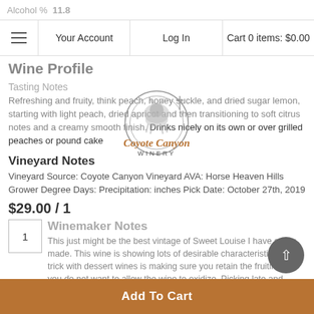Alcohol %  11.8
Your Account | Log In | Cart 0 items: $0.00
Wine Profile
Tasting Notes
[Figure (logo): Coyote Canyon Winery logo — circular emblem with coyote illustration above script text 'Coyote Canyon' and 'WINERY']
Refreshing and fruity, think peach, honey suckle, and dried sugar lemon, starting with light peach, dried apricot and then transitioning to soft citrus notes and a creamy smooth finish. Drinks nicely on its own or over grilled peaches or pound cake
Vineyard Notes
Vineyard Source: Coyote Canyon Vineyard AVA: Horse Heaven Hills Grower Degree Days: Precipitation: inches Pick Date: October 27th, 2019
$29.00 / 1
Winemaker Notes
This just might be the best vintage of Sweet Louise I have every made. This wine is showing lots of desirable characteristics. The trick with dessert wines is making sure you retain the fruitiness, you do not want to allow the wine to oxidize. Picking late and using frozen grapes to harvest the wine seems to leave it in a stable state after fermentation and prior to bottling. This vintage made that transition seamlessly and there is more fruit aroma